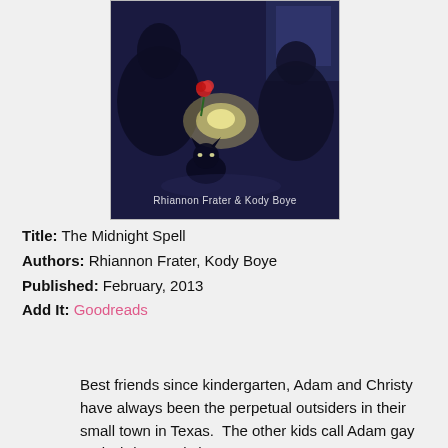[Figure (illustration): Book cover for 'The Midnight Spell' by Rhiannon Frater & Kody Boye. Dark blue/purple toned image showing two figures and a cat with a glowing light element and a red rose. Author names appear at the bottom of the cover image.]
Title: The Midnight Spell
Authors: Rhiannon Frater, Kody Boye
Published: February, 2013
Add It: Goodreads
Best friends since kindergarten, Adam and Christy have always been the perpetual outsiders in their small town in Texas.  The other kids call Adam gay and Christy a witch.
On both counts the bullies are right.